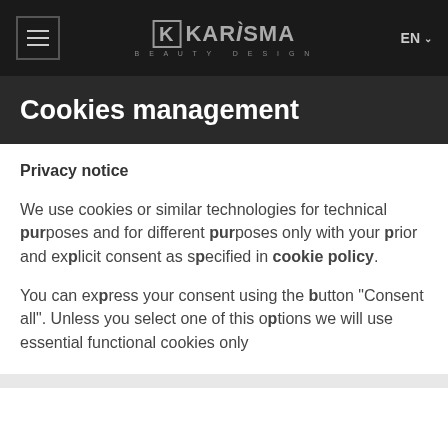KARISMA BEAUTY DESIGN | EN
Cookies management
Privacy notice
We use cookies or similar technologies for technical purposes and for different purposes only with your prior and explicit consent as specified in cookie policy.
You can express your consent using the button "Consent all". Unless you select one of this options we will use essential functional cookies only